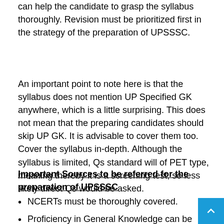can help the candidate to grasp the syllabus thoroughly. Revision must be prioritized first in the strategy of the preparation of UPSSSC.
An important point to note here is that the syllabus does not mention UP Specified GK anywhere, which is a little surprising. This does not mean that the preparing candidates should skip UP GK. It is advisable to cover them too. Cover the syllabus in-depth. Although the syllabus is limited, Qs standard will of PET type, meaning thereby it is a screening test, so less likely direct Qs would be asked.
Important Sources to be referred for the preparation of UPSSSC
NCERTs must be thoroughly covered.
Proficiency in General Knowledge can be ascertained by